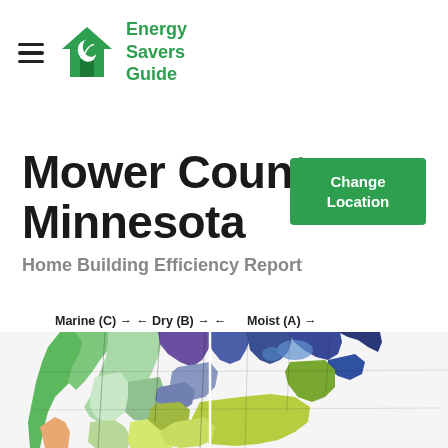[Figure (logo): Energy Savers Guide logo with green house icon and leaf, green text]
Mower County, Minnesota
Home Building Efficiency Report
[Figure (map): US climate zone map showing Marine (C), Dry (B), and Moist (A) regions with colored zones across the contiguous United States. A white vertical divider line separates columns.]